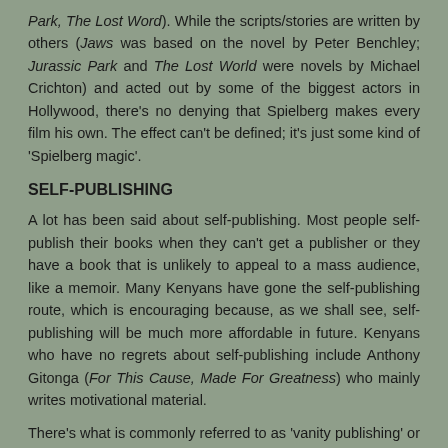Park, The Lost Word). While the scripts/stories are written by others (Jaws was based on the novel by Peter Benchley; Jurassic Park and The Lost World were novels by Michael Crichton) and acted out by some of the biggest actors in Hollywood, there's no denying that Spielberg makes every film his own. The effect can't be defined; it's just some kind of 'Spielberg magic'.
SELF-PUBLISHING
A lot has been said about self-publishing. Most people self-publish their books when they can't get a publisher or they have a book that is unlikely to appeal to a mass audience, like a memoir. Many Kenyans have gone the self-publishing route, which is encouraging because, as we shall see, self-publishing will be much more affordable in future. Kenyans who have no regrets about self-publishing include Anthony Gitonga (For This Cause, Made For Greatness) who mainly writes motivational material.
There's what is commonly referred to as 'vanity publishing' or the 'vanity press'. This is a situation where a person has a